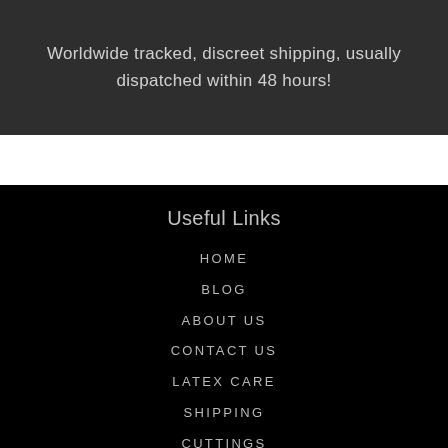Worldwide tracked, discreet shipping, usually dispatched within 48 hours!
Useful Links
HOME
BLOG
ABOUT US
CONTACT US
LATEX CARE
SHIPPING
CUTTINGS